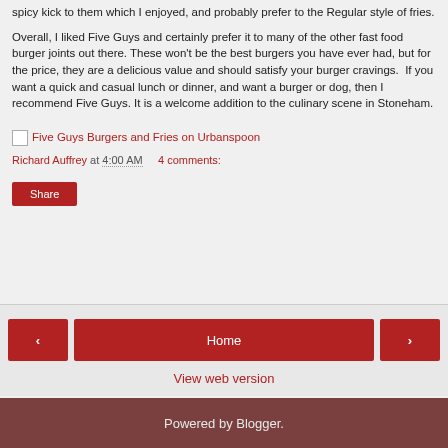spicy kick to them which I enjoyed, and probably prefer to the Regular style of fries.
Overall, I liked Five Guys and certainly prefer it to many of the other fast food burger joints out there. These won't be the best burgers you have ever had, but for the price, they are a delicious value and should satisfy your burger cravings.  If you want a quick and casual lunch or dinner, and want a burger or dog, then I recommend Five Guys. It is a welcome addition to the culinary scene in Stoneham.
[Figure (other): Five Guys Burgers and Fries on Urbanspoon link with small image placeholder]
Richard Auffrey at 4:00 AM    4 comments:
Share
< Home > View web version
Powered by Blogger.